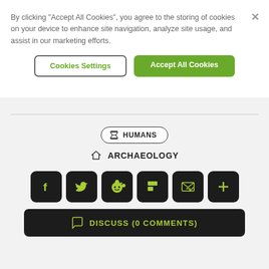By clicking “Accept All Cookies”, you agree to the storing of cookies on your device to enhance site navigation, analyze site usage, and assist in our marketing efforts.
Cookies Settings
Accept All Cookies
⌛ HUMANS
♦ ARCHAEOLOGY
[Figure (infographic): Six social sharing icon buttons: Facebook (f), Twitter (bird), Reddit (alien), Flipboard (f), Email/inbox, and a plus (+) button. All dark rounded squares with yellow-green icons.]
DISCUSS (0 COMMENTS)